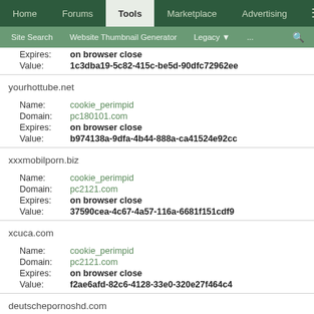Home | Forums | Tools | Marketplace | Advertising
Site Search | Website Thumbnail Generator | Legacy | ...
Expires: on browser close
Value: 1c3dba19-5c82-415c-be5d-90dfc72962ee
yourhottube.net
Name: cookie_perimpid
Domain: pc180101.com
Expires: on browser close
Value: b974138a-9dfa-4b44-888a-ca41524e92cc
xxxmobilporn.biz
Name: cookie_perimpid
Domain: pc2121.com
Expires: on browser close
Value: 37590cea-4c67-4a57-116a-6681f151cdf9
xcuca.com
Name: cookie_perimpid
Domain: pc2121.com
Expires: on browser close
Value: f2ae6afd-82c6-4128-33e0-320e27f464c4
deutschepornoshd.com